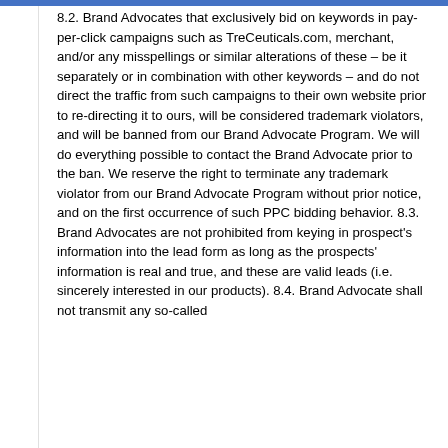8.2. Brand Advocates that exclusively bid on keywords in pay-per-click campaigns such as TreCeuticals.com, merchant, and/or any misspellings or similar alterations of these – be it separately or in combination with other keywords – and do not direct the traffic from such campaigns to their own website prior to re-directing it to ours, will be considered trademark violators, and will be banned from our Brand Advocate Program. We will do everything possible to contact the Brand Advocate prior to the ban. We reserve the right to terminate any trademark violator from our Brand Advocate Program without prior notice, and on the first occurrence of such PPC bidding behavior. 8.3. Brand Advocates are not prohibited from keying in prospect's information into the lead form as long as the prospects' information is real and true, and these are valid leads (i.e. sincerely interested in our products). 8.4. Brand Advocate shall not transmit any so-called